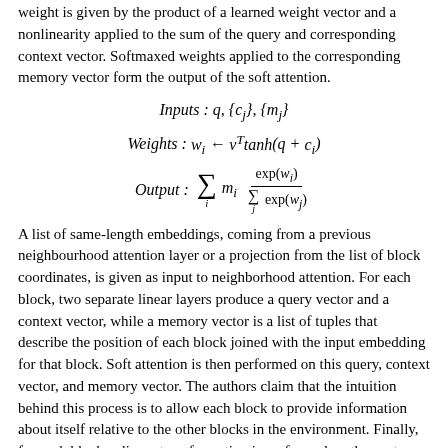weight is given by the product of a learned weight vector and a nonlinearity applied to the sum of the query and corresponding context vector. Softmaxed weights applied to the corresponding memory vector form the output of the soft attention.
A list of same-length embeddings, coming from a previous neighbourhood attention layer or a projection from the list of block coordinates, is given as input to neighborhood attention. For each block, two separate linear layers produce a query vector and a context vector, while a memory vector is a list of tuples that describe the position of each block joined with the input embedding for that block. Soft attention is then performed on this query, context vector, and memory vector. The authors claim that the intuition behind this process is to allow each block to provide information about itself relative to the other blocks in the environment. Finally, for each block, a linear transformation is performed on the vector composed by concatenating the input embedding, the result of the soft attention,